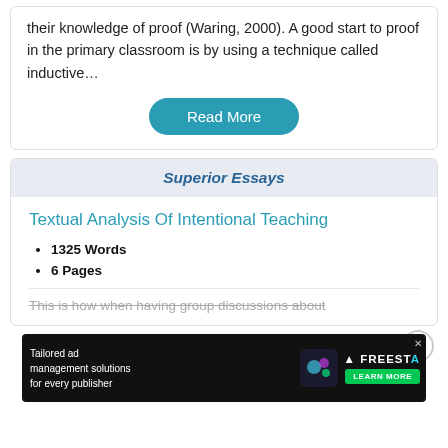their knowledge of proof (Waring, 2000). A good start to proof in the primary classroom is by using a technique called inductive…
Read More
Superior Essays
Textual Analysis Of Intentional Teaching
1325 Words
6 Pages
This is how when having group discussions about
[Figure (screenshot): Dark advertisement banner for Freesta ad management solutions with green Learn More button]